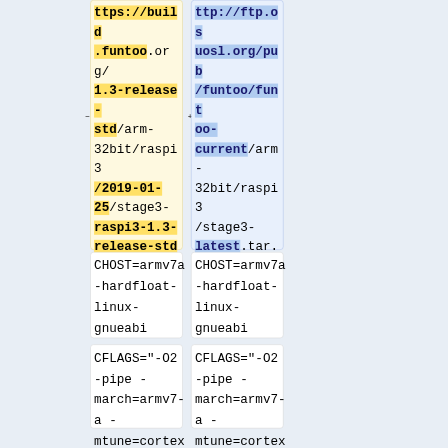| (removed) | (added) |
| --- | --- |
| ttps://build.funtoo.org/1.3-release-std/arm-32bit/raspi3/2019-01-25/stage3-raspi3-1.3-release-std-2019-01-25.tar.xz | ttp://ftp.osuosl.org/pub/funtoo/funtoo-current/arm-32bit/raspi3/stage3-latest.tar.xz |
| CHOST=armv7a-hardfloat-linux-gnueabi | CHOST=armv7a-hardfloat-linux-gnueabi |
| CFLAGS="-O2 -pipe -march=armv7-a -mtune=cortex | CFLAGS="-O2 -pipe -march=armv7-a -mtune=cortex |